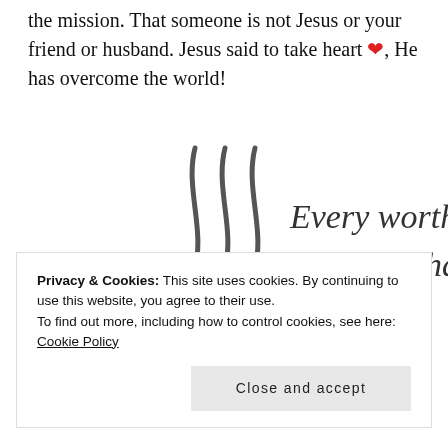the mission. That someone is not Jesus or your friend or husband. Jesus said to take heart ❤, He has overcome the world!
[Figure (illustration): Decorative illustration of three wavy vertical lines resembling obstacles, with handwritten-style script text reading 'Every worthy endeavor has obstacles']
Privacy & Cookies: This site uses cookies. By continuing to use this website, you agree to their use. To find out more, including how to control cookies, see here: Cookie Policy